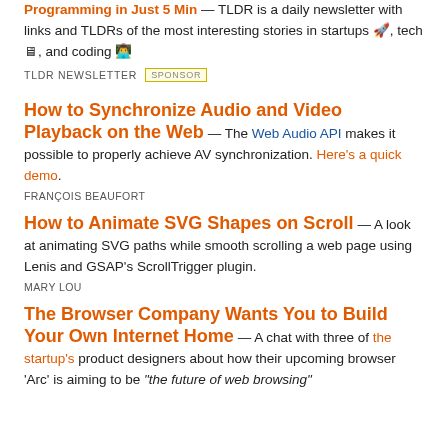Programming in Just 5 Min — TLDR is a daily newsletter with links and TLDRs of the most interesting stories in startups 🚀, tech 🖥, and coding 👨‍💻
TLDR NEWSLETTER SPONSOR
How to Synchronize Audio and Video Playback on the Web
— The Web Audio API makes it possible to properly achieve AV synchronization. Here's a quick demo.
FRANÇOIS BEAUFORT
How to Animate SVG Shapes on Scroll
— A look at animating SVG paths while smooth scrolling a web page using Lenis and GSAP's ScrollTrigger plugin.
MARY LOU
The Browser Company Wants You to Build Your Own Internet Home
— A chat with three of the startup's product designers about how their upcoming browser 'Arc' is aiming to be "the future of web browsing"